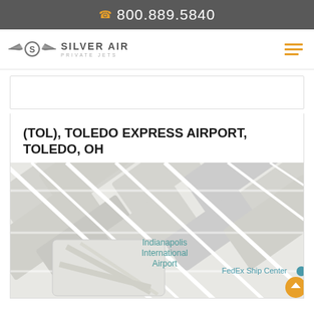800.889.5840
[Figure (logo): Silver Air Private Jets logo with winged S emblem]
(TOL), TOLEDO EXPRESS AIRPORT, TOLEDO, OH
[Figure (map): Google map showing airport location area with Indianapolis International Airport and FedEx Ship Center labels visible]